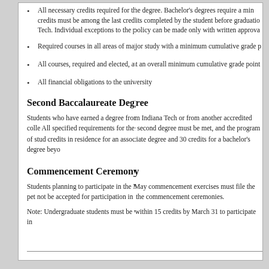All necessary credits required for the degree. Bachelor's degrees require a minimum of credits must be among the last credits completed by the student before graduation Tech. Individual exceptions to the policy can be made only with written approval
Required courses in all areas of major study with a minimum cumulative grade p
All courses, required and elected, at an overall minimum cumulative grade point
All financial obligations to the university
Second Baccalaureate Degree
Students who have earned a degree from Indiana Tech or from another accredited college. All specified requirements for the second degree must be met, and the program of study credits in residence for an associate degree and 30 credits for a bachelor's degree beyo
Commencement Ceremony
Students planning to participate in the May commencement exercises must file the pet not be accepted for participation in the commencement ceremonies.
Note: Undergraduate students must be within 15 credits by March 31 to participate in